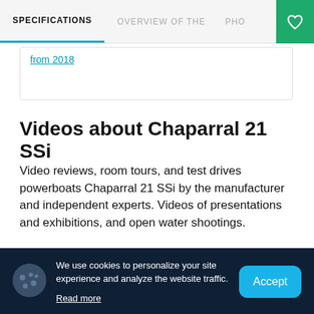SPECIFICATIONS  OVERVIEW OF THE  PHO
from 2018
Videos about Chaparral 21 SSi
Video reviews, room tours, and test drives powerboats Chaparral 21 SSi by the manufacturer and independent experts. Videos of presentations and exhibitions, and open water shootings.
We use cookies to personalize your site experience and analyze the website traffic.
Read more
Accept